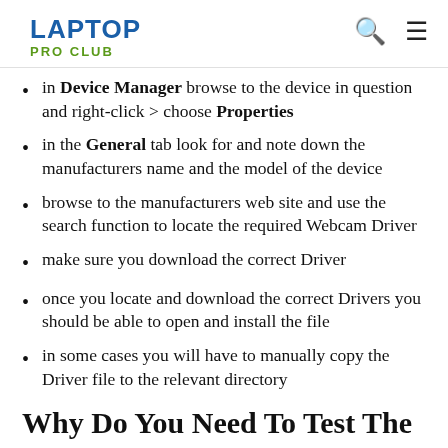LAPTOP PRO CLUB
in Device Manager browse to the device in question and right-click > choose Properties
in the General tab look for and note down the manufacturers name and the model of the device
browse to the manufacturers web site and use the search function to locate the required Webcam Driver
make sure you download the correct Driver
once you locate and download the correct Drivers you should be able to open and install the file
in some cases you will have to manually copy the Driver file to the relevant directory
Why Do You Need To Test The